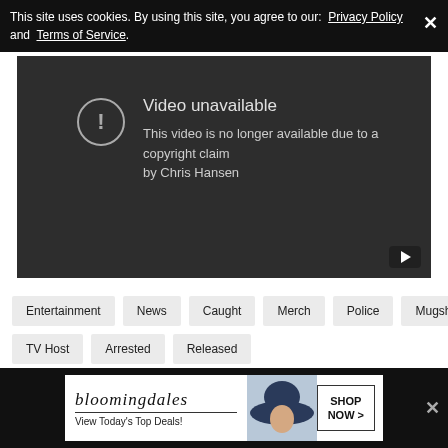This site uses cookies. By using this site, you agree to our: Privacy Policy and Terms of Service.
[Figure (screenshot): Video unavailable screen: dark background with exclamation icon, text 'Video unavailable' and 'This video is no longer available due to a copyright claim by Chris Hansen']
Entertainment
News
Caught
Merch
Police
Mugshot
TV Host
Arrested
Released
[Figure (screenshot): Bloomingdale's advertisement: 'bloomingdales View Today's Top Deals!' with SHOP NOW > button and woman in hat]